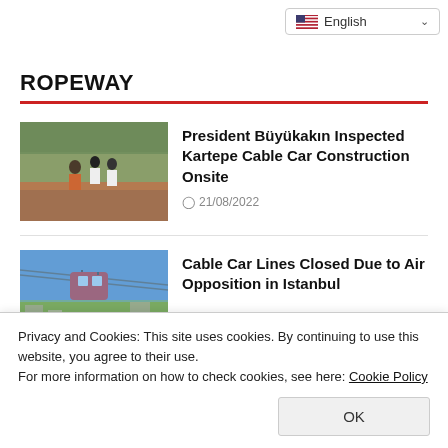[Figure (screenshot): Language selector dropdown showing English with US flag]
ROPEWAY
[Figure (photo): People at a cable car construction site outdoors]
President Büyükakın Inspected Kartepe Cable Car Construction Onsite
21/08/2022
[Figure (photo): Cable car gondola over urban landscape]
Cable Car Lines Closed Due to Air Opposition in Istanbul
Privacy and Cookies: This site uses cookies. By continuing to use this website, you agree to their use.
For more information on how to check cookies, see here: Cookie Policy